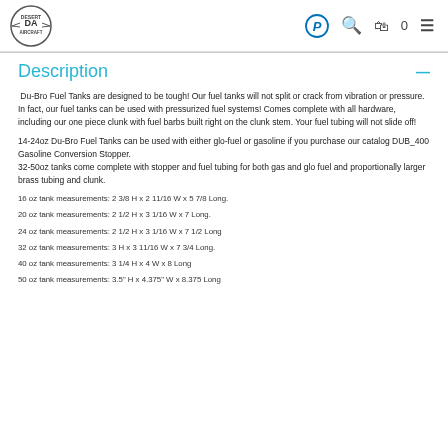Desert Aircraft — Navigation header with logo, PayPal icon, search, cart (0), and menu
Description
Du-Bro Fuel Tanks are designed to be tough! Our fuel tanks will not split or crack from vibration or pressure. In fact, our fuel tanks can be used with pressurized fuel systems! Comes complete with all hardware, including our one piece clunk with fuel barbs built right on the clunk stem. Your fuel tubing will not slide off!
14-24oz Du-Bro Fuel Tanks can be used with either glo-fuel or gasoline if you purchase our catalog DUB_400 Gasoline Conversion Stopper.
32-50oz tanks come complete with stopper and fuel tubing for both gas and glo fuel and proportionally larger brass tubing and clunk.
16 oz tank measurements: 2 3/8 H x 2 11/16 W x 5 7/8 Long.
20 oz tank measurements: 2 1/2 H x 3 1/16 W x 7 Long.
24 oz tank measurements: 2 1/2 H x 3 1/16 W x 7 1/2 Long
32 oz tank measurements: 3 H x 3 11/16 W x 7 3/4 Long.
40 oz tank measurements: 3 1/4 H x 4 W x 8 Long
50 oz tank measurements: 3.5" H x 4.375" W x 8.375 Long